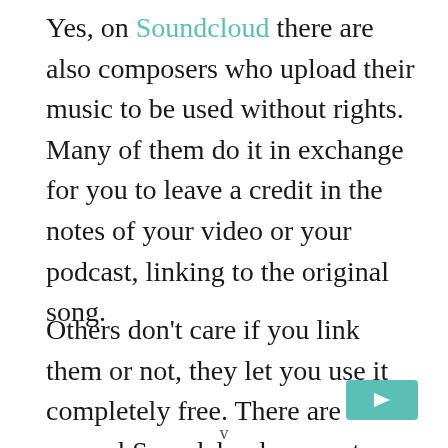Yes, on Soundcloud there are also composers who upload their music to be used without rights. Many of them do it in exchange for you to leave a credit in the notes of your video or your podcast, linking to the original song.
Others don't care if you link them or not, they let you use it completely free. There are several Soundcloud accounts that create playlists or upload songs royalty-free. One of the ones we like the most is RFMNCM.